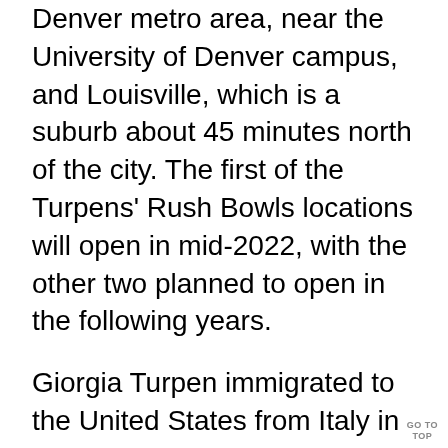Denver metro area, near the University of Denver campus, and Louisville, which is a suburb about 45 minutes north of the city. The first of the Turpens' Rush Bowls locations will open in mid-2022, with the other two planned to open in the following years.
Giorgia Turpen immigrated to the United States from Italy in 2009 to attend the University of San Diego. A few years later, she married Ian. She then graduated law school in North Carolina, where she began her career as a personal injury attorney. Shortly after, the couple decided to m...